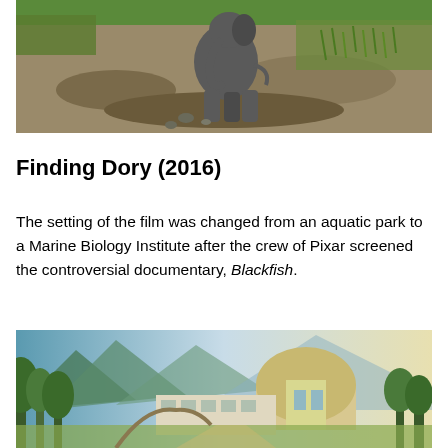[Figure (photo): A baby elephant walking on muddy ground with dry grass and dirt in the background]
Finding Dory (2016)
The setting of the film was changed from an aquatic park to a Marine Biology Institute after the crew of Pixar screened the controversial documentary, Blackfish.
[Figure (photo): An animated scene showing a Marine Biology Institute building with a large dome, set against mountains and a blue sky with trees in the foreground]